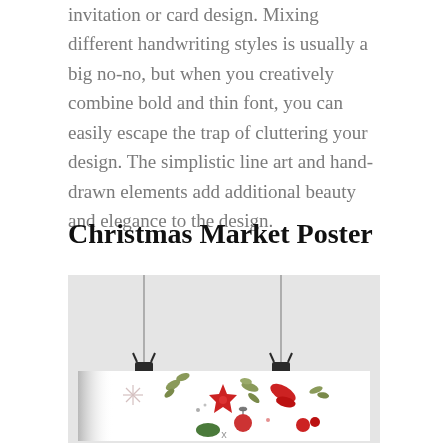You can never go wrong with calligraphy on any invitation or card design. Mixing different handwriting styles is usually a big no-no, but when you creatively combine bold and thin font, you can easily escape the trap of cluttering your design. The simplistic line art and hand-drawn elements add additional beauty and elegance to the design.
Christmas Market Poster
[Figure (photo): A Christmas market poster design displayed hanging from two binder clips attached to wires against a light gray background. The poster shows colorful holiday botanical illustrations including red poinsettia stars, green leaves and branches, a decorative ball ornament, and other festive botanical elements on a white background.]
x